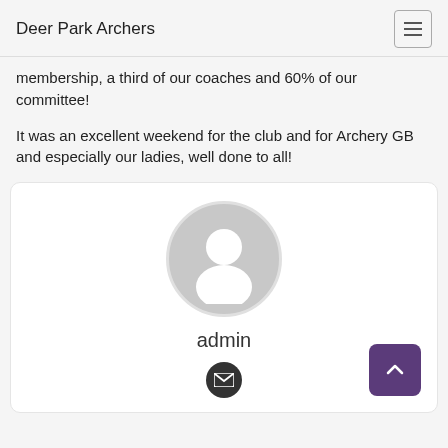Deer Park Archers
membership, a third of our coaches and 60% of our committee!
It was an excellent weekend for the club and for Archery GB and especially our ladies, well done to all!
[Figure (illustration): User profile card with a generic grey avatar icon (silhouette of a person), the username 'admin' below it, and an email icon button at the bottom. A purple scroll-to-top button is in the lower right corner of the card.]